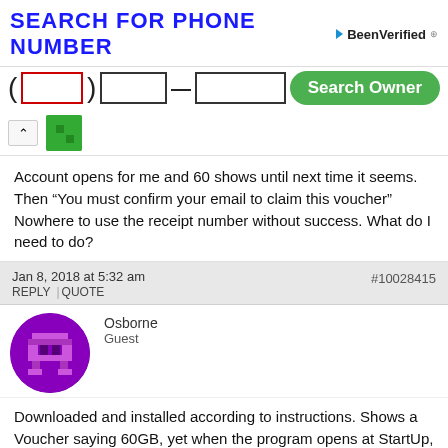[Figure (screenshot): BeenVerified ad banner: 'SEARCH FOR PHONE NUMBER' with phone input fields (area code, prefix, number) highlighted in red/black borders, and a green 'Search Owner' button. BeenVerified logo top right with triangle icon.]
Account opens for me and 60 shows until next time it seems. Then “You must confirm your email to claim this voucher” Nowhere to use the receipt number without success. What do I need to do?
Jan 8, 2018 at 5:32 am
#10028415
REPLY | QUOTE
Osborne
Guest
Downloaded and installed according to instructions. Shows a Voucher saying 60GB, yet when the program opens at StartUp, it says 2GB. Any way to get these two items on the same track?